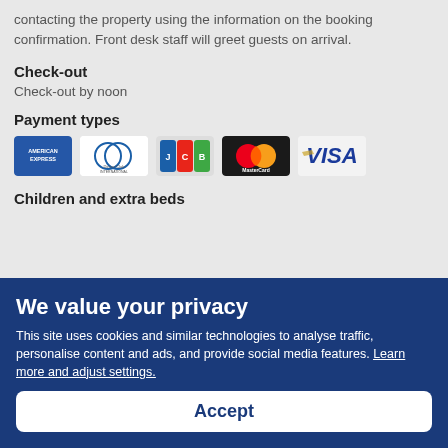contacting the property using the information on the booking confirmation. Front desk staff will greet guests on arrival.
Check-out
Check-out by noon
Payment types
[Figure (illustration): Payment method logos: American Express, Diners Club International, JCB, MasterCard, Visa]
Children and extra beds
We value your privacy
This site uses cookies and similar technologies to analyse traffic, personalise content and ads, and provide social media features. Learn more and adjust settings.
Accept